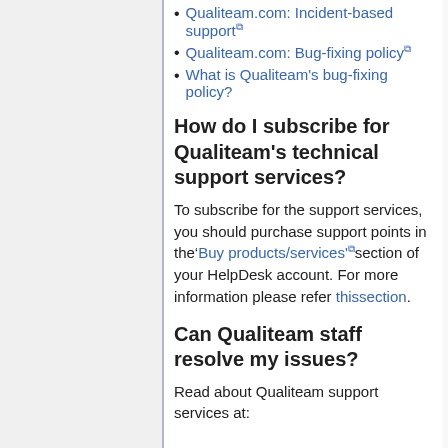Qualiteam.com: Incident-based support
Qualiteam.com: Bug-fixing policy
What is Qualiteam's bug-fixing policy?
How do I subscribe for Qualiteam's technical support services?
To subscribe for the support services, you should purchase support points in the 'Buy products/services' section of your HelpDesk account. For more information please refer this section.
Can Qualiteam staff resolve my issues?
Read about Qualiteam support services at: